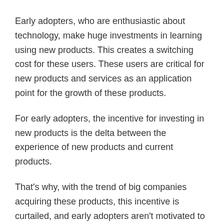Early adopters, who are enthusiastic about technology, make huge investments in learning using new products. This creates a switching cost for these users. These users are critical for new products and services as an application point for the growth of these products.
For early adopters, the incentive for investing in new products is the delta between the experience of new products and current products.
That’s why, with the trend of big companies acquiring these products, this incentive is curtailed, and early adopters aren’t motivated to invest time in new products. This creates what this paper calls “Kill Zone”.
A case in point is my tryst with a smartwatch. I am a loyal